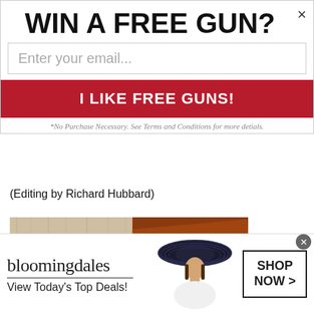WIN A FREE GUN?×
Enter your email...
I LIKE FREE GUNS!
*No Purchase Necessary. See Terms and Conditions for more detials.
(Editing by Richard Hubbard)
[Figure (photo): Bacon jerky advertisement image showing strips of bacon jerky with bold text reading 'DID YOU SAY BACON JERKY?' on a wooden background]
[Figure (advertisement): Bloomingdales banner advertisement showing logo, tagline 'View Today's Top Deals!', woman in large black hat, and 'SHOP NOW >' button]